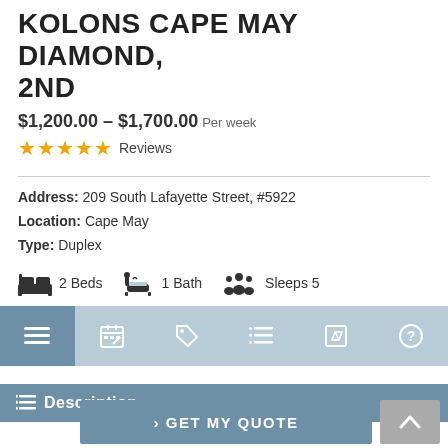KOLONS CAPE MAY DIAMOND, 2ND
$1,200.00 – $1,700.00 Per week
★★★★★ Reviews
Address: 209 South Lafayette Street, #5922
Location: Cape May
Type: Duplex
2 Beds  1 Bath  Sleeps 5
[Figure (screenshot): Navigation icon bar with 6 icons: menu, calendar, tag, list, edit, help]
Description
> GET MY QUOTE